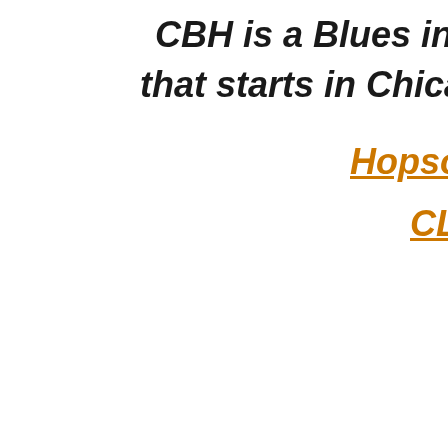CBH is a Blues infused road trip for music lo...
that starts in Chicago, IL and ends in Clarksd...
Hopson Commissary and Shack U...
CLICK HERE to read more abou...